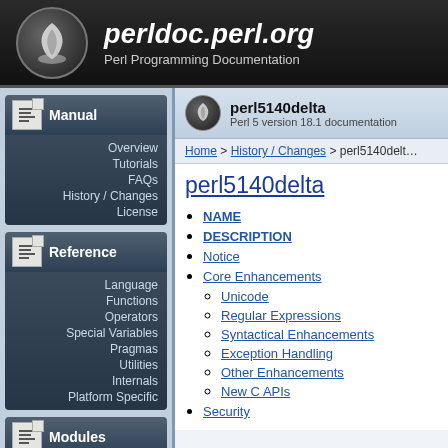perldoc.perl.org — Perl Programming Documentation
Manual
Overview
Tutorials
FAQs
History / Changes
License
Reference
Language
Functions
Operators
Special Variables
Pragmas
Utilities
Internals
Platform Specific
Modules
A · B · C · D · E
perl5140delta
Perl 5 version 18.1 documentation
Home > History / Changes > perl5140delta
perl5140delta
NAME
DESCRIPTION
Notice
Core Enhancements
Unicode
Regular Expressions
Syntactical Enhancements
Exception Handling
Other Enhancements
New C APIs
Security